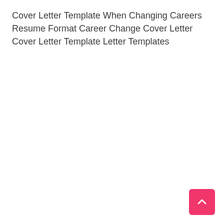Cover Letter Template When Changing Careers Resume Format Career Change Cover Letter Cover Letter Template Letter Templates